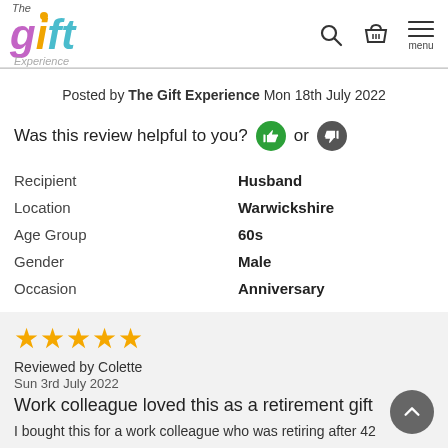[Figure (logo): The Gift Experience logo with colorful stylized text]
Posted by The Gift Experience Mon 18th July 2022
Was this review helpful to you? or
| Label | Value |
| --- | --- |
| Recipient | Husband |
| Location | Warwickshire |
| Age Group | 60s |
| Gender | Male |
| Occasion | Anniversary |
★★★★★
Reviewed by Colette
Sun 3rd July 2022
Work colleague loved this as a retirement gift
I bought this for a work colleague who was retiring after 42